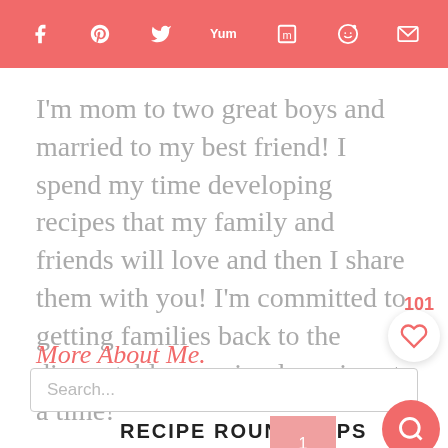Social share bar with icons: Facebook, Pinterest, Twitter, Yummly, Flipboard, Reddit, Email
I'm mom to two great boys and married to my best friend! I spend my time developing recipes that my family and friends will love and then I share them with you! I'm committed to getting families back to the dinner table one simple recipe at a time!
More About Me.
101
Search...
RECIPE ROUNDS UPS